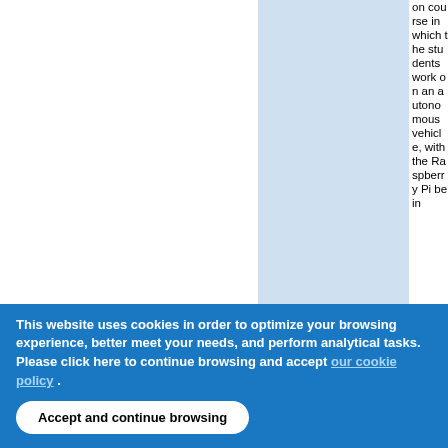on course in which the students work on an autonomous vehicle, with the Raspberry Pi bein
This website uses cookies in order to optimize your browsing experience, better meet your needs, and perform analytical tasks. Please click here to continue browsing and accept our cookie policy .
Accept and continue browsing